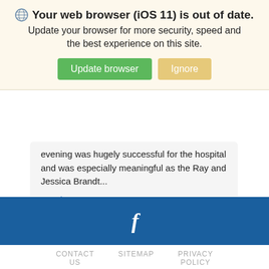Your web browser (iOS 11) is out of date. Update your browser for more security, speed and the best experience on this site. [Update browser] [Ignore]
evening was hugely successful for the hospital and was especially meaningful as the Ray and Jessica Brandt...
Read More
[Figure (logo): Facebook icon 'f' in white on dark blue bar]
CONTACT US   SITEMAP   PRIVACY POLICY